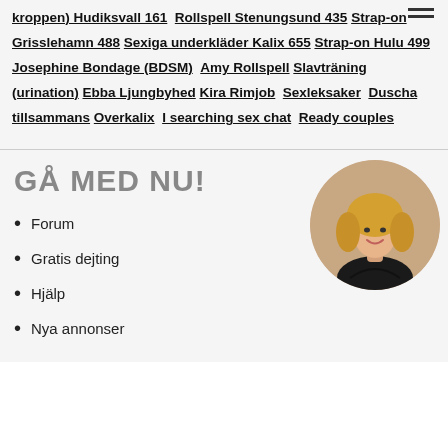kroppen) Hudiksvall 161 Rollspell Stenungsund 435 Strap-on Grisslehamn 488 Sexiga underkläder Kalix 655 Strap-on Hulu 499 Josephine Bondage (BDSM) Amy Rollspell Slavträning (urination) Ebba Ljungbyhed Kira Rimjob Sexleksaker Duscha tillsammans Overkalix I searching sex chat Ready couples
GÅ MED NU!
Forum
Gratis dejting
Hjälp
Nya annonser
[Figure (photo): Circular profile photo of a blonde woman in black clothing, smiling]